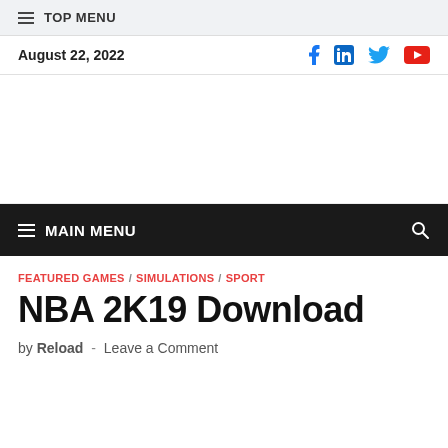≡ TOP MENU
August 22, 2022
[Figure (other): Social media icons: Facebook, LinkedIn, Twitter, YouTube]
≡ MAIN MENU
FEATURED GAMES / SIMULATIONS / SPORT
NBA 2K19 Download
by Reload - Leave a Comment